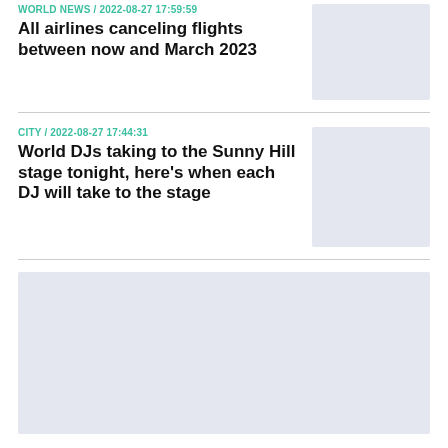WORLD NEWS / 2022-08-27 17:59:59
All airlines canceling flights between now and March 2023
[Figure (photo): Placeholder image for first news article]
CITY / 2022-08-27 17:44:31
World DJs taking to the Sunny Hill stage tonight, here's when each DJ will take to the stage
[Figure (photo): Placeholder image for second news article]
[Figure (photo): Large placeholder image at bottom of page]